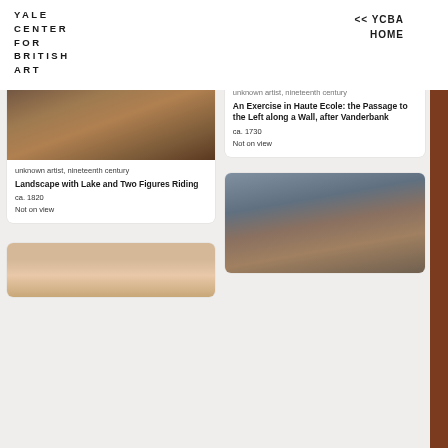YALE CENTER FOR BRITISH ART
<< YCBA HOME
[Figure (photo): Painting of a landscape with lake and two figures riding horses, muted earth tones, nineteenth century style]
unknown artist, nineteenth century
Landscape with Lake and Two Figures Riding
ca. 1820
Not on view
[Figure (photo): Painting of an equestrian exercise scene - Haute Ecole passage to the left along a wall, after Vanderbank, ca. 1730]
unknown artist, nineteenth century
An Exercise in Haute Ecole: the Passage to the Left along a Wall, after Vanderbank
ca. 1730
Not on view
[Figure (photo): Partial view of a painting with pale warm tones, bottom-left card, cropped]
[Figure (photo): Painting of a landscape with buildings and trees at dusk, muted blue-grey and earth tones, bottom-right card]